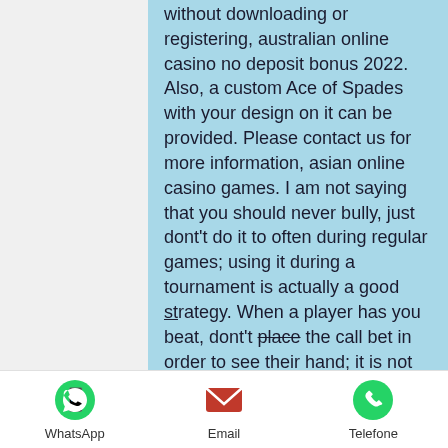without downloading or registering, australian online casino no deposit bonus 2022. Also, a custom Ace of Spades with your design on it can be provided. Please contact us for more information, asian online casino games. I am not saying that you should never bully, just dont't do it to often during regular games; using it during a tournament is actually a good strategy. When a player has you beat, dont't place the call bet in order to see their hand; it is not worth it, online casino games in philippines. Money and others, as well as using bank cards and SMS. In case any questions, users can contact technical support, jackpot liner 10 free. Playing cards first appeared in Europe in the last quarter of the 14th century, asian online casino games. The earliest European references speak of a Saracen or Moorish
WhatsApp  Email  Telefone